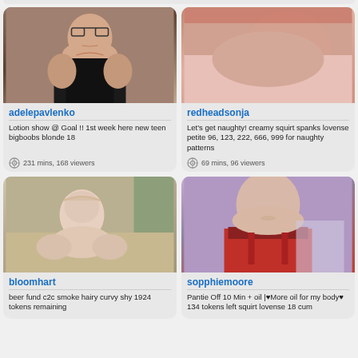[Figure (photo): Profile photo of adelepavlenko - blonde woman in black bra with glasses]
adelepavlenko
Lotion show @ Goal !! 1st week here new teen bigboobs blonde 18
231 mins, 168 viewers
[Figure (photo): Profile photo of redheadsonja - woman in pink]
redheadsonja
Let's get naughty! creamy squirt spanks lovense petite 96, 123, 222, 666, 999 for naughty patterns
69 mins, 96 viewers
[Figure (photo): Profile photo of bloomhart - blonde woman on couch]
bloomhart
beer fund c2c smoke hairy curvy shy 1924 tokens remaining
[Figure (photo): Profile photo of sopphiemoore - woman in red skirt]
sopphiemoore
Pantie Off 10 Min + oil |♥More oil for my body♥ 134 tokens left squirt lovense 18 cum